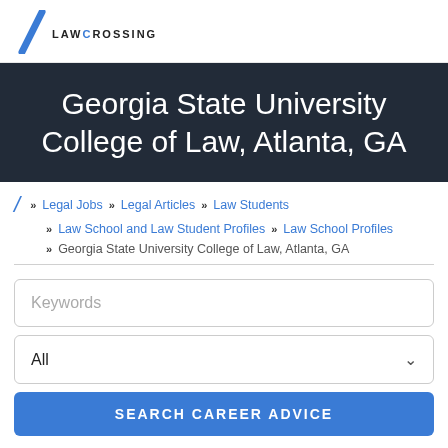LAW CROSSING
Georgia State University College of Law, Atlanta, GA
» Legal Jobs » Legal Articles » Law Students
» Law School and Law Student Profiles » Law School Profiles
» Georgia State University College of Law, Atlanta, GA
Keywords
All
SEARCH CAREER ADVICE